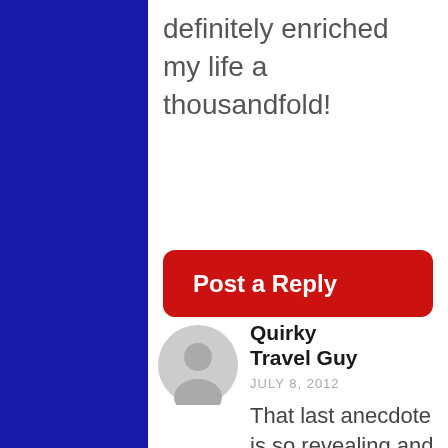definitely enriched my life a thousandfold!
[Figure (other): Red rounded rectangle button with white bold text reading 'Post a Reply']
[Figure (other): Circular gray avatar placeholder icon showing a generic person silhouette]
Quirky Travel Guy
JULY 8, 2012
That last anecdote is so revealing and it's why I travel. You never